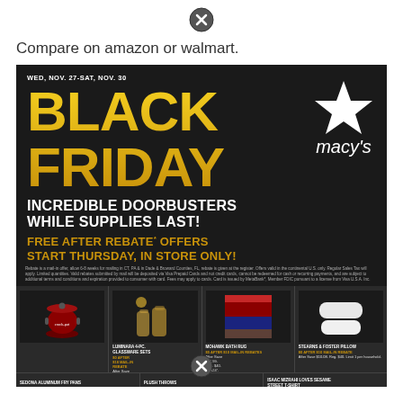[Figure (other): Close/dismiss icon (circle with X) at top center]
Compare on amazon or walmart.
[Figure (infographic): Macy's Black Friday advertisement. Dark background with gold 'BLACK FRIDAY' heading, Macy's star logo, 'INCREDIBLE DOORBUSTERS WHILE SUPPLIES LAST!' in white, 'FREE AFTER REBATE* OFFERS START THURSDAY, IN STORE ONLY!' in gold. Date: WED, NOV. 27-SAT, NOV. 30. Product thumbnails at bottom including glassware sets, bath rugs, pillows, crockpot, aluminum pans, plush throws, and more.]
WED, NOV. 27-SAT, NOV. 30
BLACK FRIDAY
INCREDIBLE DOORBUSTERS WHILE SUPPLIES LAST!
FREE AFTER REBATE* OFFERS START THURSDAY, IN STORE ONLY!
Rebate is a mail-in offer, allow 6-8 weeks for mailing in CT, PA & in Dade & Broward Counties, FL, rebate is given at the register. Offers valid in the continental U.S. only. Regular Sales Tax will apply. Limited quantities. Valid rebates submitted by mail will be deposited via Visa Prepaid Cards and not credit cards, cannot be redeemed for cash or recurring payments, and are subject to additional terms and conditions and expiration provided to consumer with card. Fees may apply to cards. Card is issued by MetaBank*, Member FDIC pursuant to a license from Visa U.S.A. Inc.
LUMINARA 4-PC. GLASSWARE SETS $0 AFTER $18 MAIL-IN REBATE
MOHAWK BATH RUG $5 AFTER $10 MAIL-IN REBATE
STEARNS & FOSTER PILLOW $0 AFTER $10 MAIL-IN REBATE
SEDONA ALUMINUM FRY PANS $0 AFTER $10 MAIL-IN REBATE
PLUSH THROWS
ISAAC MIZRAHI LOVES SESAME STREET T-SHIRT